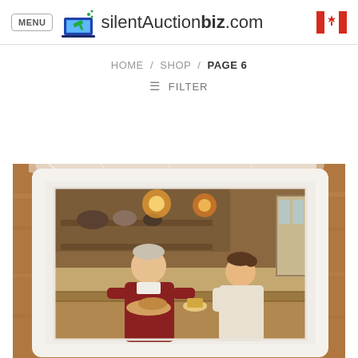MENU | silentAuctionbiz.com
HOME / SHOP / PAGE 6
≡ FILTER
[Figure (photo): Photograph of a framed artwork showing two people in a kitchen/bakery scene, displayed on a wooden table and wrapped in plastic. The painting depicts a baker in an apron and a woman, in a warm interior setting.]